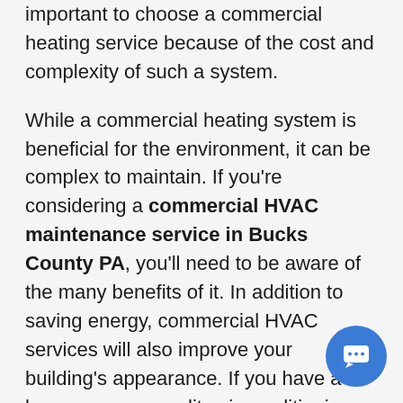important to choose a commercial heating service because of the cost and complexity of such a system.
While a commercial heating system is beneficial for the environment, it can be complex to maintain. If you're considering a commercial HVAC maintenance service in Bucks County PA, you'll need to be aware of the many benefits of it. In addition to saving energy, commercial HVAC services will also improve your building's appearance. If you have a large space, a quality air conditioning system can help you make your business more productive. The right equipment will ensure your customers' satisfaction.
Ensure that your HVAC system is well maintained and working properly. Regularly maintenance is